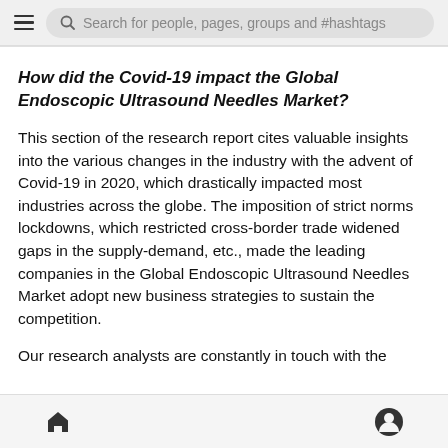Search for people, pages, groups and #hashtags
How did the Covid-19 impact the Global Endoscopic Ultrasound Needles Market?
This section of the research report cites valuable insights into the various changes in the industry with the advent of Covid-19 in 2020, which drastically impacted most industries across the globe. The imposition of strict norms lockdowns, which restricted cross-border trade widened gaps in the supply-demand, etc., made the leading companies in the Global Endoscopic Ultrasound Needles Market adopt new business strategies to sustain the competition.
Our research analysts are constantly in touch with the